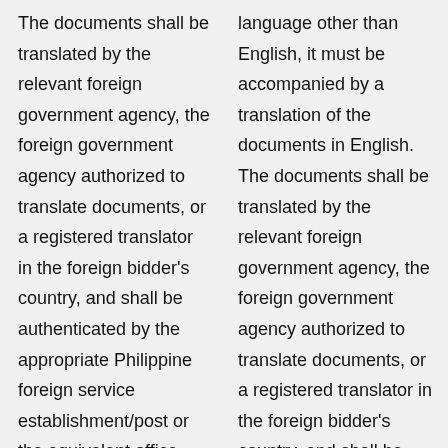The documents shall be translated by the relevant foreign government agency, the foreign government agency authorized to translate documents, or a registered translator in the foreign bidder's country, and shall be authenticated by the appropriate Philippine foreign service establishment/post or the equivalent office having jurisdiction over the foreign bidder's affairs in the Philippines.
language other than English, it must be accompanied by a translation of the documents in English. The documents shall be translated by the relevant foreign government agency, the foreign government agency authorized to translate documents, or a registered translator in the foreign bidder's country, and shall be authenticated by the appropriate Philippine foreign service establishment/post or the